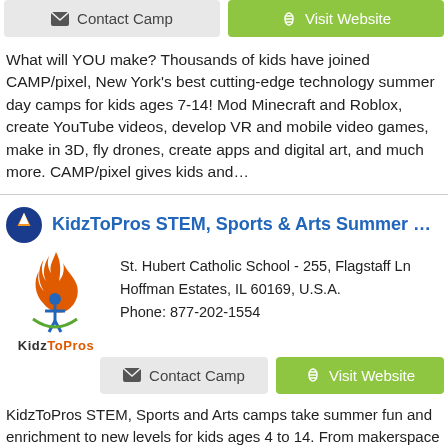[Figure (other): Contact Camp and Visit Website buttons at top]
What will YOU make? Thousands of kids have joined CAMP/pixel, New York's best cutting-edge technology summer day camps for kids ages 7-14! Mod Minecraft and Roblox, create YouTube videos, develop VR and mobile video games, make in 3D, fly drones, create apps and digital art, and much more. CAMP/pixel gives kids and…
KidzToPros STEM, Sports & Arts Summer Can
[Figure (logo): KidzToPros logo with flame and figure, colored red, orange and green]
St. Hubert Catholic School - 255, Flagstaff Ln
Hoffman Estates, IL 60169, U.S.A.
Phone: 877-202-1554
[Figure (other): Contact Camp and Visit Website buttons]
KidzToPros STEM, Sports and Arts camps take summer fun and enrichment to new levels for kids ages 4 to 14. From makerspace and robotics to coding, game design, music production, film studio, digital arts, tennis, basketball, soccer and more, KidzToPros camps will ignite your child's creativity, inspire innovative thinking and…